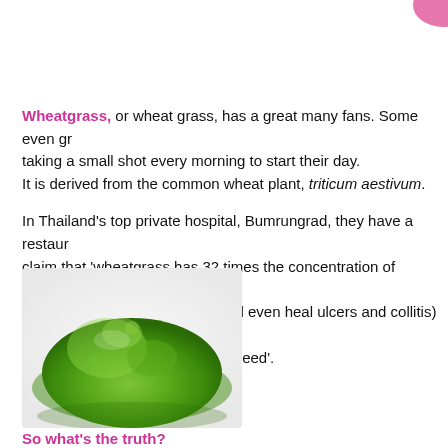Wheatgrass, or wheat grass, has a great many fans. Some even go so far as taking a small shot every morning to start their day. It is derived from the common wheat plant, triticum aestivum.
In Thailand's top private hospital, Bumrungrad, they have a restaurant that claim that 'wheatgrass has 32 times the concentration of chlorophyll... the blood, improve digestion (and even heal ulcers and collitis) and... enzymes and protein you could need'.
[Figure (photo): A pile of bright green wheatgrass powder on a white background.]
So what's the truth?